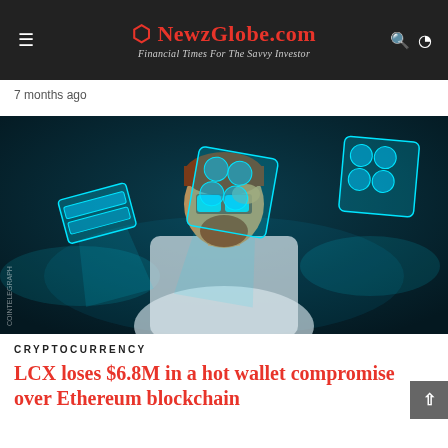⬡ NewzGlobe.com — Financial Times For The Savvy Investor
7 months ago
[Figure (illustration): Digital illustration of a man in a white shirt adjusting his blue-lens glasses, surrounded by glowing cyan holographic blockchain cube shapes on a dark teal background. Watermark reads COINTELEGRAPH.]
CRYPTOCURRENCY
LCX loses $6.8M in a hot wallet compromise over Ethereum blockchain